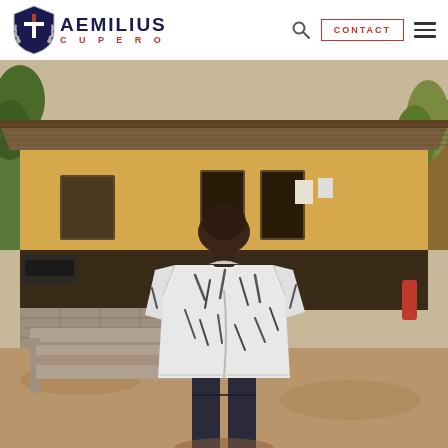Aemilius Cupero — Navigation bar with logo, search, contact button, and menu
[Figure (photo): A man seen from behind, wearing a white patterned oversized t-shirt and dark pants, standing in a dry dusty yard in front of a low African building with a corrugated tin roof and yellow/brown walls, with trees in the background and concrete steps to the left.]